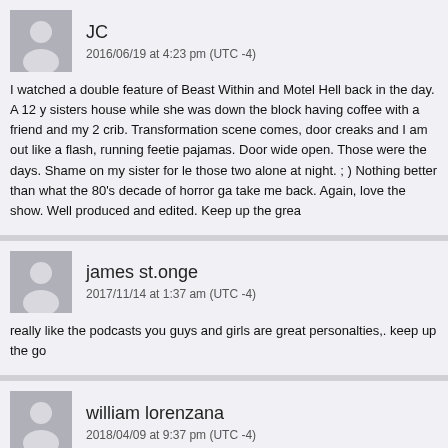JC
2016/06/19 at 4:23 pm (UTC -4)
I watched a double feature of Beast Within and Motel Hell back in the day. A 12 y sisters house while she was down the block having coffee with a friend and my 2 crib. Transformation scene comes, door creaks and I am out like a flash, running feetie pajamas. Door wide open. Those were the days. Shame on my sister for le those two alone at night. ; ) Nothing better than what the 80's decade of horror ga take me back. Again, love the show. Well produced and edited. Keep up the grea
james st.onge
2017/11/14 at 1:37 am (UTC -4)
really like the podcasts you guys and girls are great personalties,. keep up the go
william lorenzana
2018/04/09 at 9:37 pm (UTC -4)
Hi,
Love your podcast. You did a great Tales from the Dark side movie podcast. Wou the TV show, similar to the Twilight zone podcast you did! Thanks and love the po